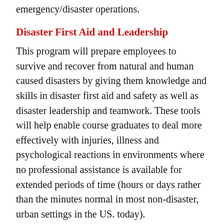emergency/disaster operations.
Disaster First Aid and Leadership
This program will prepare employees to survive and recover from natural and human caused disasters by giving them knowledge and skills in disaster first aid and safety as well as disaster leadership and teamwork. These tools will help enable course graduates to deal more effectively with injuries, illness and psychological reactions in environments where no professional assistance is available for extended periods of time (hours or days rather than the minutes normal in most non-disaster, urban settings in the US. today).
Leadership and Team Building